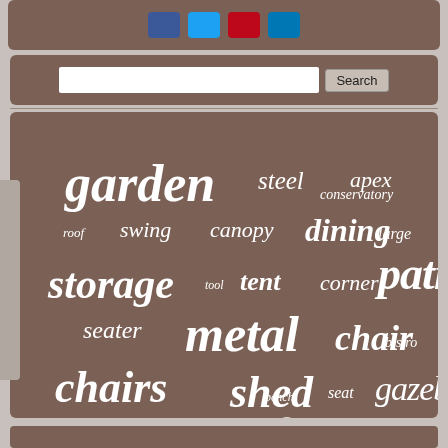[Figure (infographic): Tag cloud on brown background with garden/outdoor furniture related keywords in varying sizes. Words include: garden, steel, apex, conservatory, roof, swing, canopy, dining, large, storage, tool, tent, corner, patio, seater, metal, chair, bistro, chairs, shed, bench, seat, gazebo, table, house, piece, furniture, free, black, rattan, sofa, wicker, outsunny, outdoor, grey]
garden steel apex conservatory roof swing canopy dining large storage tool tent corner patio seater metal chair bistro chairs shed bench seat gazebo table house piece furniture free black rattan sofa wicker outsunny outdoor grey